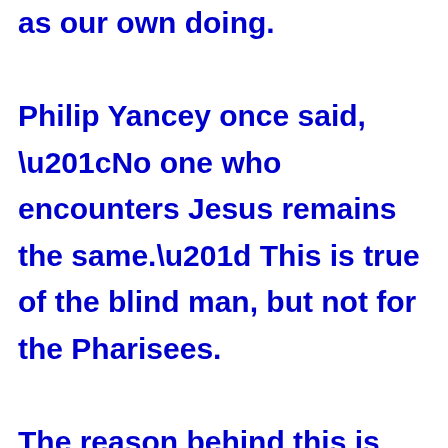as our own doing. Philip Yancey once said, “No one who encounters Jesus remains the same.” This is true of the blind man, but not for the Pharisees. The reason behind this is that one opens his heart to Him and let God rule over his life, especially his need, while the others closed the doors of their heart to